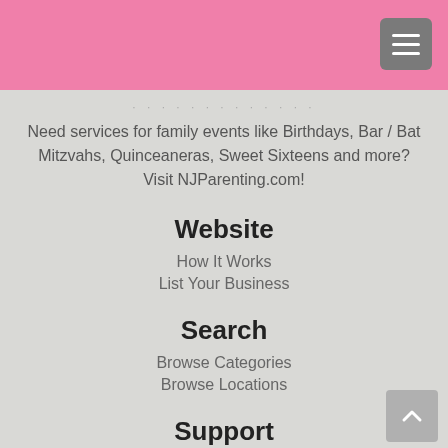Need services for family events like Birthdays, Bar / Bat Mitzvahs, Quinceaneras, Sweet Sixteens and more? Visit NJParenting.com!
Website
How It Works
List Your Business
Search
Browse Categories
Browse Locations
Support
Password Retrieval
Contact Us